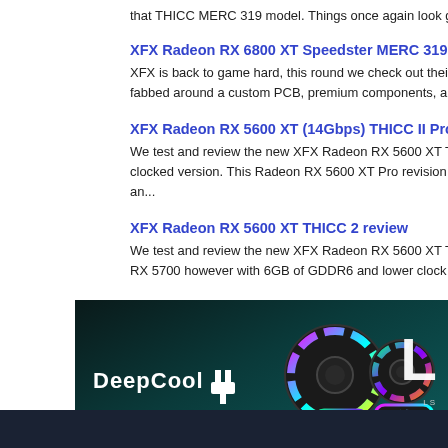that THICC MERC 319 model. Things once again look good fo
XFX Radeon RX 6800 XT Speedster MERC 319 review - XFX is back to game hard, this round we check out their all-ne fabbed around a custom PCB, premium components, a custom
XFX Radeon RX 5600 XT (14Gbps) THICC II Pro review - We test and review the new XFX Radeon RX 5600 XT THICC clocked version. This Radeon RX 5600 XT Pro revision is basi an...
XFX Radeon RX 5600 XT THICC 2 review - We test and review the new XFX Radeon RX 5600 XT THICC RX 5700 however with 6GB of GDDR6 and lower clock frequer
[Figure (photo): DeepCool advertisement banner showing RGB cooling fans and the DeepCool logo on a dark teal background]